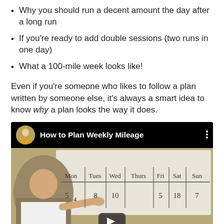Why you should run a decent amount the day after a long run
If you're ready to add double sessions (two runs in one day)
What a 100-mile week looks like!
Even if you're someone who likes to follow a plan written by someone else, it's always a smart idea to know why a plan looks the way it does.
[Figure (screenshot): YouTube video thumbnail titled 'How to Plan Weekly Mileage' showing a man pointing at a whiteboard with days of the week (Mon, Tues, Wed, Thurs, Fri, Sat, Sun) and mileage numbers (5, 4, 8, 10, 5, 18, 7). A play button is visible at the bottom center.]